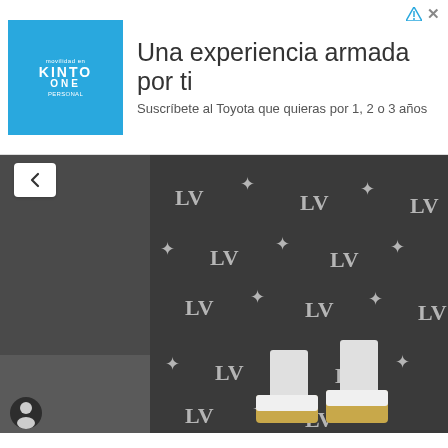[Figure (other): Advertisement banner for Kinto One / Toyota subscription service. Teal square logo with 'KINTO ONE' text on left. Spanish headline 'Una experiencia armada por ti' and subtext 'Suscríbete al Toyota que quieras por 1, 2 o 3 años'. Ad indicator arrow and close X icons in top right.]
[Figure (photo): Close-up photo of a person wearing a dark Louis Vuitton monogram pattern outfit (shirt/jacket and pants with LV logos) and gold-tipped sneakers with white socks. Only the lower body is visible. A circular user/camera icon appears in the bottom left corner of the photo.]
Knowing your passion, be persistent
Jamiel was 14 when he realised he wanted to be a barber. “That fresh and clean feeling after getting your haircut, that feeling drove me the desire to make people feel that way as well. I want to spread